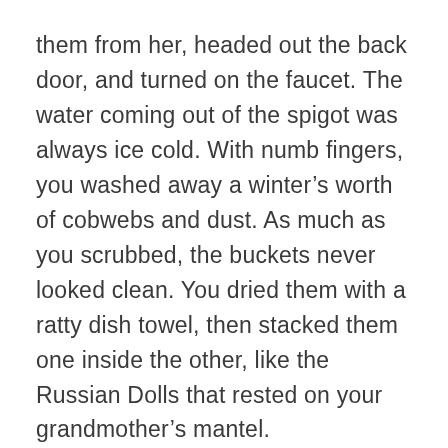them from her, headed out the back door, and turned on the faucet. The water coming out of the spigot was always ice cold. With numb fingers, you washed away a winter’s worth of cobwebs and dust. As much as you scrubbed, the buckets never looked clean. You dried them with a ratty dish towel, then stacked them one inside the other, like the Russian Dolls that rested on your grandmother’s mantel.
With bug spray, sunscreen, and a big floppy hat in her hand, you knew your grandmother was ready to go. She backed her Dodge Dart out of the driveway and aimed it toward the peak of the hill